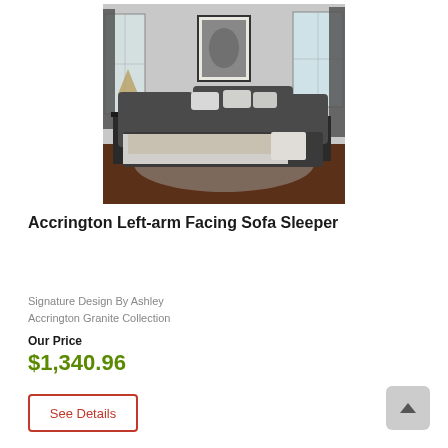[Figure (photo): A dark gray sectional sofa/sleeper in a living room setting with pillows and a blanket, wood floors, two windows with dark curtains, and a framed artwork on the wall.]
Accrington Left-arm Facing Sofa Sleeper
Signature Design By Ashley
Accrington Granite Collection
Our Price
$1,340.96
See Details